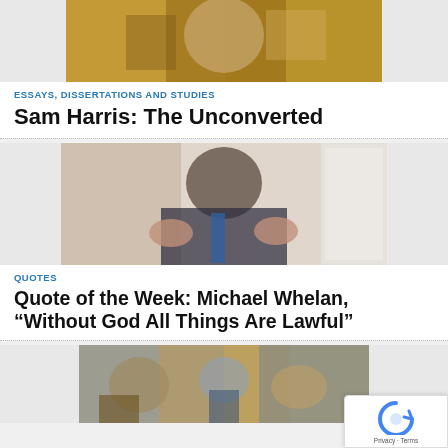[Figure (photo): Classical painting of a robed scholar or saint writing with a quill, holding a book]
ESSAYS, DISSERTATIONS AND STUDIES
Sam Harris: The Unconverted
[Figure (photo): Elderly bald man in a dark suit gesturing with both hands open, seated in front of a white door]
QUOTES
Quote of the Week: Michael Whelan, “Without God All Things Are Lawful”
[Figure (photo): Colorful collage or cubist-style artwork with figures and objects]